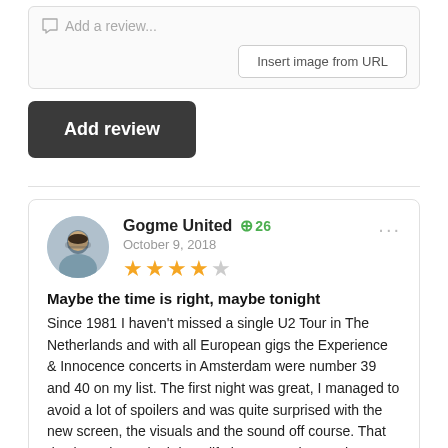Add a review...
Insert image from URL
Add review
Gogme United +26
October 9, 2018
Maybe the time is right, maybe tonight
Since 1981 I haven't missed a single U2 Tour in The Netherlands and with all European gigs the Experience & Innocence concerts in Amsterdam were number 39 and 40 on my list. The first night was great, I managed to avoid a lot of spoilers and was quite surprised with the new screen, the visuals and the sound off course. That day brought my both long life loves together as the famous Ajax football